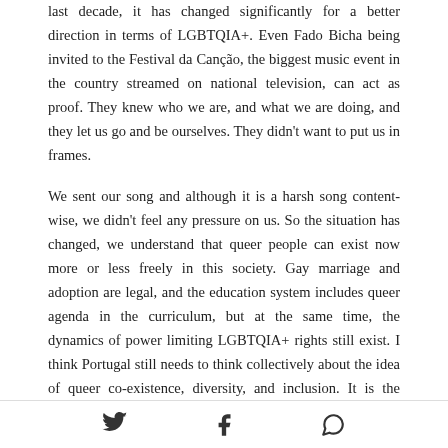last decade, it has changed significantly for a better direction in terms of LGBTQIA+. Even Fado Bicha being invited to the Festival da Canção, the biggest music event in the country streamed on national television, can act as proof. They knew who we are, and what we are doing, and they let us go and be ourselves. They didn't want to put us in frames.
We sent our song and although it is a harsh song content-wise, we didn't feel any pressure on us. So the situation has changed, we understand that queer people can exist now more or less freely in this society. Gay marriage and adoption are legal, and the education system includes queer agenda in the curriculum, but at the same time, the dynamics of power limiting LGBTQIA+ rights still exist. I think Portugal still needs to think collectively about the idea of queer co-existence, diversity, and inclusion. It is the exercise we must do as it is not enough just to accept queer people in legal matters, but also it is crucial to
[Twitter icon] [Facebook icon] [WhatsApp icon]